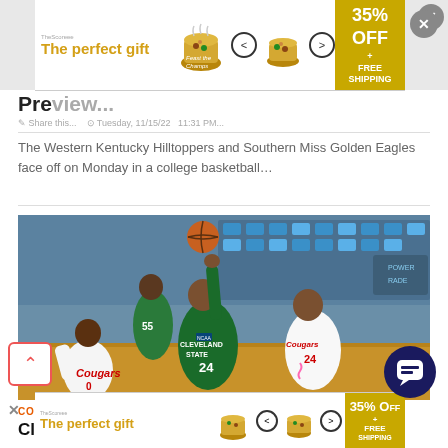[Figure (screenshot): Top advertisement banner: 'The perfect gift' with bowl imagery, navigation arrows, and '35% OFF + FREE SHIPPING' gold box]
Pre...
The Western Kentucky Hilltoppers and Southern Miss Golden Eagles face off on Monday in a college basketball…
[Figure (photo): Basketball game photo showing Cleveland State player #24 in green uniform going up for a shot against Houston Cougars defenders, with player #55 in background]
COLLEGE BASKETBALL PICKS
Cleveland State at BEW: 2/14/22 Coll...
[Figure (screenshot): Bottom advertisement banner repeating 'The perfect gift' with bowl imagery and '35% OFF + FREE SHIPPING']